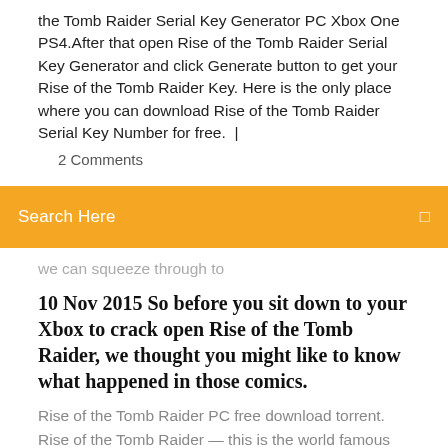the Tomb Raider Serial Key Generator PC Xbox One PS4.After that open Rise of the Tomb Raider Serial Key Generator and click Generate button to get your Rise of the Tomb Raider Key. Here is the only place where you can download Rise of the Tomb Raider Serial Key Number for free.  |
2 Comments
Search Here
we can squeeze through to
10 Nov 2015 So before you sit down to your Xbox to crack open Rise of the Tomb Raider, we thought you might like to know what happened in those comics.
Rise of the Tomb Raider PC free download torrent. Rise of the Tomb Raider — this is the world famous saga of the adventures of Lara Croft. Our heroine does not sit in one place, it's not in her style. After conducting the research, Lara learns interesting facts about the ancient mystery, in her search she finds